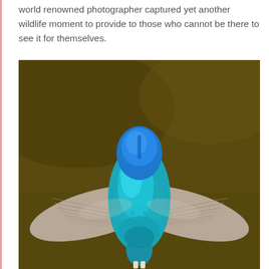world renowned photographer captured yet another wildlife moment to provide to those who cannot be there to see it for themselves.
[Figure (photo): A kingfisher bird photographed from below/behind with wings fully spread, showing vivid iridescent blue-teal plumage on the body and striped brown-grey wing feathers, against a dark olive-brown background.]